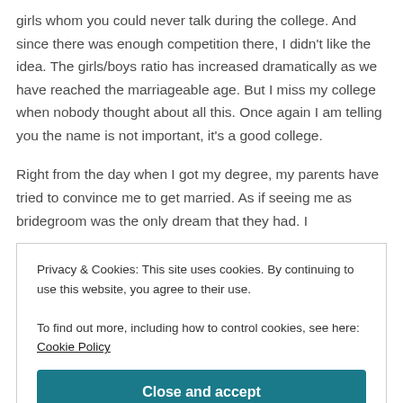girls whom you could never talk during the college. And since there was enough competition there, I didn't like the idea. The girls/boys ratio has increased dramatically as we have reached the marriageable age. But I miss my college when nobody thought about all this. Once again I am telling you the name is not important, it's a good college.

Right from the day when I got my degree, my parents have tried to convince me to get married. As if seeing me as bridegroom was the only dream that they had. I
Privacy & Cookies: This site uses cookies. By continuing to use this website, you agree to their use.
To find out more, including how to control cookies, see here: Cookie Policy
Close and accept